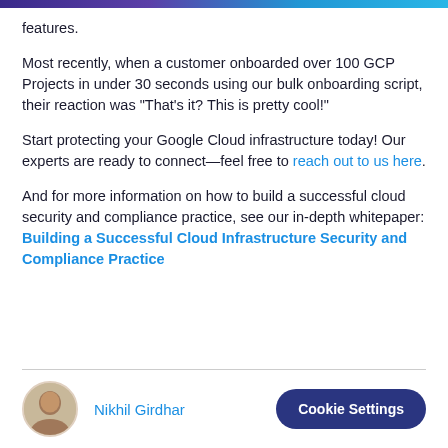features.
Most recently, when a customer onboarded over 100 GCP Projects in under 30 seconds using our bulk onboarding script, their reaction was "That's it? This is pretty cool!"
Start protecting your Google Cloud infrastructure today! Our experts are ready to connect—feel free to reach out to us here.
And for more information on how to build a successful cloud security and compliance practice, see our in-depth whitepaper: Building a Successful Cloud Infrastructure Security and Compliance Practice
Nikhil Girdhar